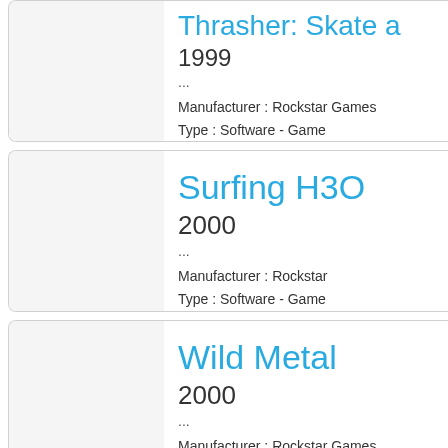Thrasher: Skate a
1999
...
Manufacturer : Rockstar Games
Type : Software - Game
Surfing H3O
2000
...
Manufacturer : Rockstar
Type : Software - Game
Wild Metal
2000
...
Manufacturer : Rockstar Games
Type : Software - Game